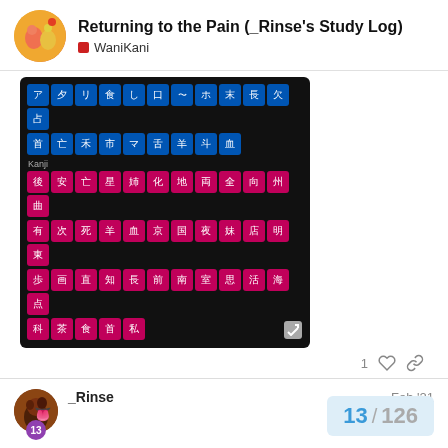Returning to the Pain (_Rinse's Study Log) — WaniKani
[Figure (screenshot): WaniKani level progress screenshot showing kanji and vocabulary items in blue and pink grid cells on dark background]
1 ♡ 🔗
_Rinse   Feb '21
February 4 2021
Level: 6
Lessons + Reviews:
13 / 126